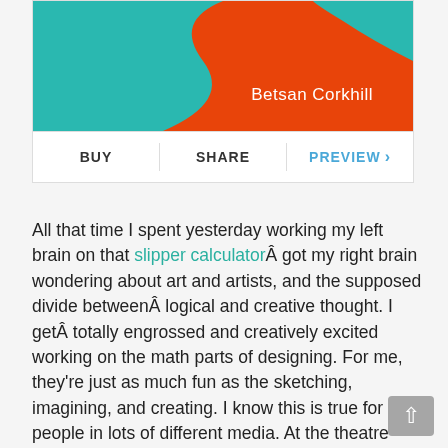[Figure (illustration): Book cover showing orange and teal wave design with author name 'Betsan Corkhill' in white text]
BUY | SHARE | PREVIEW >
All that time I spent yesterday working my left brain on that slipper calculatorÂ got my right brain wondering about art and artists, and the supposed divide betweenÂ logical and creative thought. I getÂ totally engrossed and creatively excited working on the math parts of designing. For me, they’re just as much fun as the sketching, imagining, and creating. I know this is true for people in lots of different media. At the theatre where I work, there are lighting and set designers–even scenic painters–who need to use lots of quantitative thought to translate their creative ideas into reality. I suppose there are some folks who do the